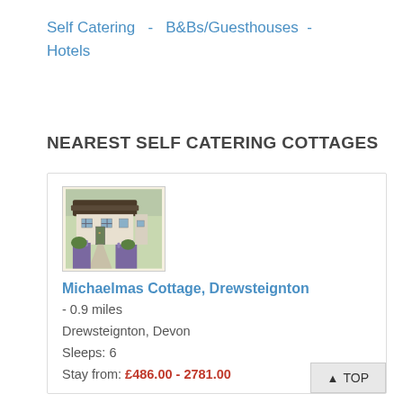Self Catering  -  B&Bs/Guesthouses  -  Hotels
NEAREST SELF CATERING COTTAGES
[Figure (photo): Photo of a thatched cottage with a garden pathway flanked by lavender and greenery.]
Michaelmas Cottage, Drewsteignton
- 0.9 miles
Drewsteignton, Devon
Sleeps: 6
Stay from: £486.00 - 2781.00